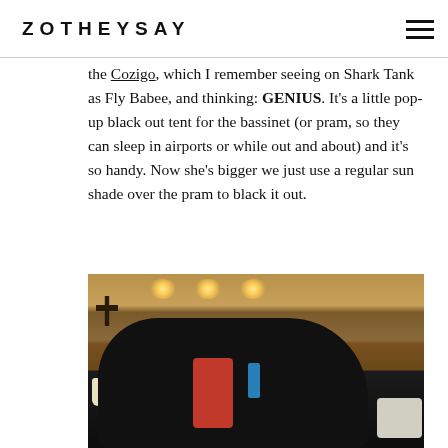ZOTHEYSAY
the Cozigo, which I remember seeing on Shark Tank as Fly Babee, and thinking: GENIUS. It's a little pop-up black out tent for the bassinet (or pram, so they can sleep in airports or while out and about) and it's so handy. Now she's bigger we just use a regular sun shade over the pram to black it out.
[Figure (photo): Photo of a stroller/pram covered with a black Cozigo blackout cover with red and blue accents, placed in what appears to be an airport lounge with warm wooden paneling and ceiling spotlights in the background.]